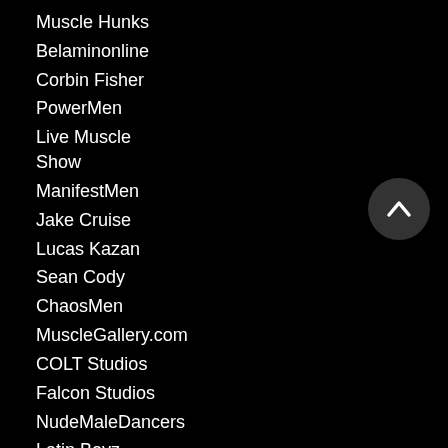Muscle Hunks
Belaminonline
Corbin Fisher
PowerMen
Live Muscle Show
ManifestMen
Jake Cruise
Lucas Kazan
Sean Cody
ChaosMen
MuscleGallery.com
COLT Studios
Falcon Studios
NudeMaleDancers
Latin Boyz
Active Duty
IconMale
BearBF Videos
Black BF Videos
Czechboys
Best Of Gay
Muscle Diss